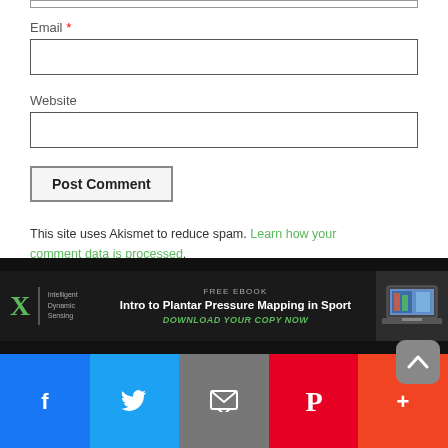Email *
Website
Post Comment
This site uses Akismet to reduce spam. Learn how your comment data is processed.
[Figure (screenshot): Advertisement banner for a free ebook: Intro to Plantar Pressure Mapping in Sport, with an X logo (Intelligent Dynamic Sensing) and a laptop image. Includes 'DOWNLOAD YOUR COPY NOW' CTA.]
[Figure (infographic): Social sharing bar with Facebook, Twitter, Email, Pinterest, and More (+) buttons. Scroll-to-top button visible above the bar.]